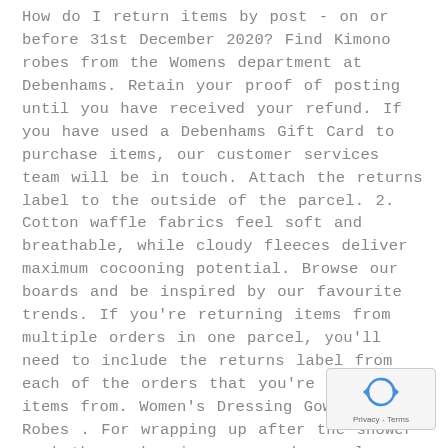How do I return items by post - on or before 31st December 2020? Find Kimono robes from the Womens department at Debenhams. Retain your proof of posting until you have received your refund. If you have used a Debenhams Gift Card to purchase items, our customer services team will be in touch. Attach the returns label to the outside of the parcel. 2. Cotton waffle fabrics feel soft and breathable, while cloudy fleeces deliver maximum cocooning potential. Browse our boards and be inspired by our favourite trends. If you're returning items from multiple orders in one parcel, you'll need to include the returns label from each of the orders that you're returning items from. Women's Dressing Gowns & Robes . For wrapping up after the shower or bath, or keeping warm and snuggly on chilly mornings, our girls' dressing gowns are a must-have all round. Face masks - for Health & Safety, face
[Figure (other): reCAPTCHA widget overlay in bottom-right corner showing a circular arrow icon and 'Privacy - Terms' text]